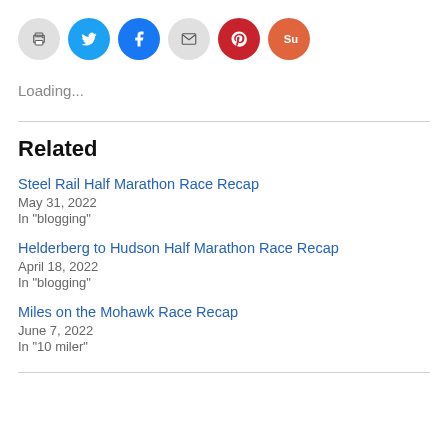[Figure (other): Social sharing buttons: print, Twitter, Facebook, email, Pinterest, StumbleUpon]
Loading...
Related
Steel Rail Half Marathon Race Recap
May 31, 2022
In "blogging"
Helderberg to Hudson Half Marathon Race Recap
April 18, 2022
In "blogging"
Miles on the Mohawk Race Recap
June 7, 2022
In "10 miler"